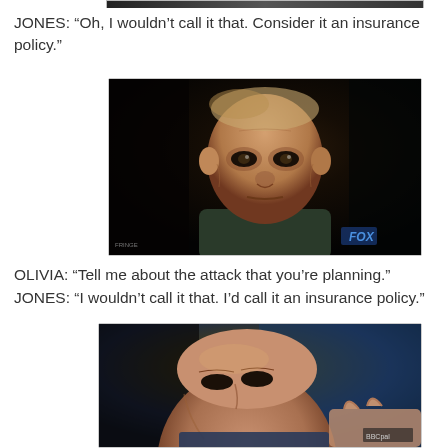[Figure (screenshot): Partial top of a TV screenshot visible at very top of page]
JONES: “Oh, I wouldn’t call it that. Consider it an insurance policy.”
[Figure (screenshot): Screenshot from TV show Fringe showing a man (Jones) staring forward in dark lighting with FOX watermark]
OLIVIA: “Tell me about the attack that you’re planning.”
JONES: “I wouldn’t call it that. I’d call it an insurance policy.”
[Figure (screenshot): Screenshot from TV show showing a close-up of a man (Jones) looking down, blue background, BBCpal watermark]